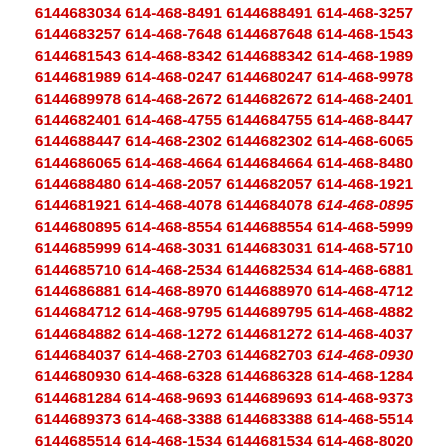6144683034 614-468-8491 6144688491 614-468-3257 6144683257 614-468-7648 6144687648 614-468-1543 6144681543 614-468-8342 6144688342 614-468-1989 6144681989 614-468-0247 6144680247 614-468-9978 6144689978 614-468-2672 6144682672 614-468-2401 6144682401 614-468-4755 6144684755 614-468-8447 6144688447 614-468-2302 6144682302 614-468-6065 6144686065 614-468-4664 6144684664 614-468-8480 6144688480 614-468-2057 6144682057 614-468-1921 6144681921 614-468-4078 6144684078 614-468-0895 6144680895 614-468-8554 6144688554 614-468-5999 6144685999 614-468-3031 6144683031 614-468-5710 6144685710 614-468-2534 6144682534 614-468-6881 6144686881 614-468-8970 6144688970 614-468-4712 6144684712 614-468-9795 6144689795 614-468-4882 6144684882 614-468-1272 6144681272 614-468-4037 6144684037 614-468-2703 6144682703 614-468-0930 6144680930 614-468-6328 6144686328 614-468-1284 6144681284 614-468-9693 6144689693 614-468-9373 6144689373 614-468-3388 6144683388 614-468-5514 6144685514 614-468-1534 6144681534 614-468-8020 6144688020 614-468-2399 6144682399 614-468-2639 6144682639 614-468-5967 6144685967 614-468-6150 6144686150 614-468-4126 6144684126 614-468-7061 6144687061 614-468-5493 6144685493 614-468-4077